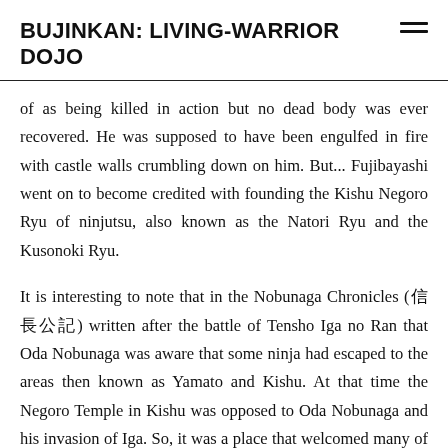BUJINKAN: LIVING-WARRIOR DOJO
of as being killed in action but no dead body was ever recovered. He was supposed to have been engulfed in fire with castle walls crumbling down on him. But... Fujibayashi went on to become credited with founding the Kishu Negoro Ryu of ninjutsu, also known as the Natori Ryu and the Kusonoki Ryu.
It is interesting to note that in the Nobunaga Chronicles (信長公記) written after the battle of Tensho Iga no Ran that Oda Nobunaga was aware that some ninja had escaped to the areas then known as Yamato and Kishu. At that time the Negoro Temple in Kishu was opposed to Oda Nobunaga and his invasion of Iga. So, it was a place that welcomed many of the ninja families that